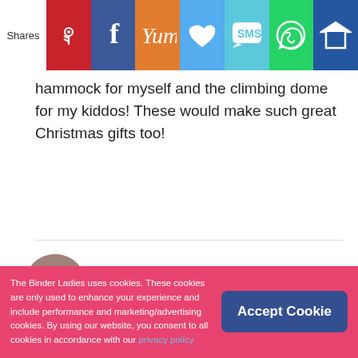[Figure (infographic): Social share bar with icons: Pinterest (red), Facebook (dark blue), Yummly (orange), Twitter (light blue), SMS (teal), WhatsApp (green), Crown/mix (dark blue). Label 'Shares' on left.]
hammock for myself and the climbing dome for my kiddos! These would make such great Christmas gifts too!
Sarah Bailey
2 YEARS AGO
REPLY
OK now, this sounds like an absolutely amazing playset to have outside. I would have LOVED something like this when I was younger.
The Binder Ladies uses cookies. These cookies are only used to enhance your experience and include performance and marketing/advertising cookies. By using our website, you consent to all cookies in accordance with our privacy policy